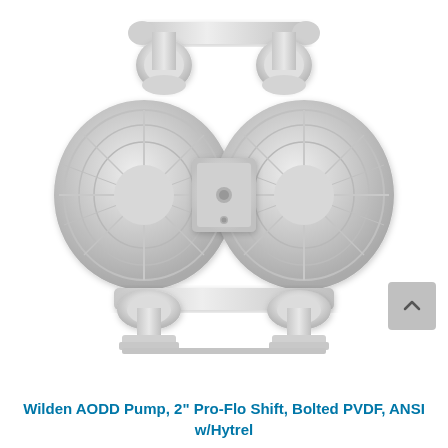[Figure (photo): Top-view photograph of a Wilden AODD (Air-Operated Double Diaphragm) Pump. The pump is white/light gray, showing two symmetrical circular diaphragm chambers on the left and right, a central manifold block, and inlet/outlet flanged pipe connections at the top and bottom. A scroll-up navigation button (gray rounded square with upward chevron) is visible in the lower-right corner of the image area.]
Wilden AODD Pump, 2" Pro-Flo Shift, Bolted PVDF, ANSI w/Hytrel